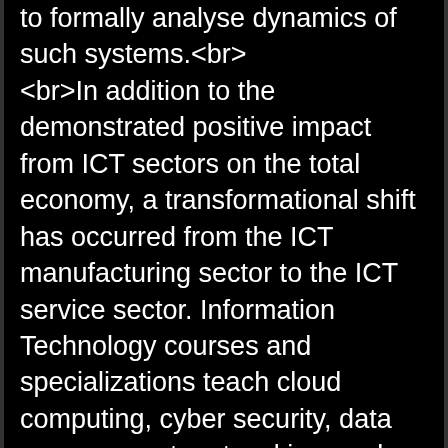to formally analyse dynamics of such systems.<br> <br>In addition to the demonstrated positive impact from ICT sectors on the total economy, a transformational shift has occurred from the ICT manufacturing sector to the ICT service sector. Information Technology courses and specializations teach cloud computing, cyber security, data management, networking, and more. Learn to use computers to meet day-to-day business needs and launch or advance your career in the IT industry. Salaries can vary greatly for jobs in information technology and information systems.<br> <br>I studied abroad at RIT Croatia, the